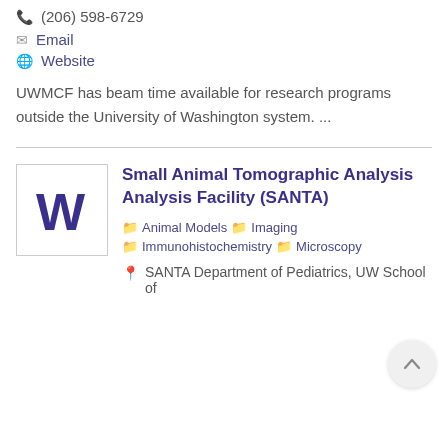(206) 598-6729
Email
Website
UWMCF has beam time available for research programs outside the University of Washington system. ...
Small Animal Tomographic Analysis Analysis Facility (SANTA)
Animal Models
Imaging
Immunohistochemistry
Microscopy
SANTA Department of Pediatrics, UW School of